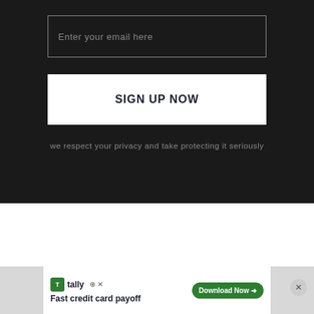Enter your email here
SIGN UP NOW
we respect your privacy and take protecting it seriously
Links
[Figure (screenshot): Advertisement banner: Tally app - Fast credit card payoff with Download Now button]
[Figure (other): Red circular scroll-to-top button with upward chevron arrow]